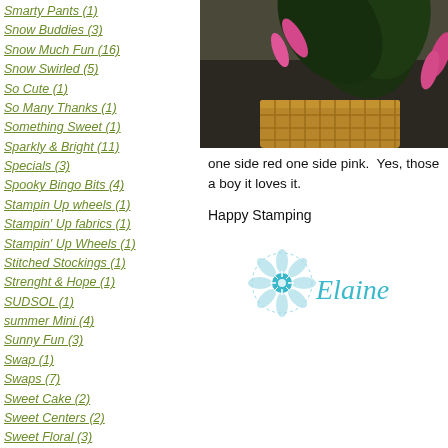Smarty Pants (1)
Snow Buddies (3)
Snow Much Fun (16)
Snow Swirled (5)
So Cute (1)
So Many Thanks (1)
Something Sweet (1)
Sparkly & Bright (11)
Specials (3)
Spooky Bingo Bits (4)
Stampin Up wheels (1)
Stampin' Up fabrics (1)
Stampin' Up Wheels (1)
Stitched Stockings (1)
Strenght & Hope (1)
SUDSOL (1)
summer Mini (4)
Sunny Fun (3)
Swap (1)
Swaps (7)
Sweet Cake (2)
Sweet Centers (2)
Sweet Floral (3)
Sweet Shop (1)
Sweetheart (4)
Sympathy cards (9)
Take a Spin (2)
[Figure (photo): Photo of a pink flowering cactus plant in a wicker basket against a wall background]
one side red one side pink. Yes, those a boy it loves it.
Happy Stamping
[Figure (illustration): Elaine signature with decorative blue flower/snowflake graphic and teal cursive text reading Elaine]